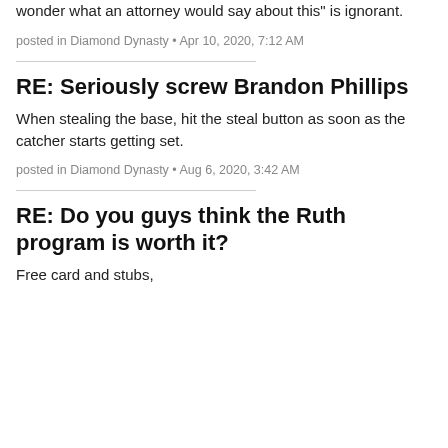wonder what an attorney would say about this” is ignorant.
posted in Diamond Dynasty • Apr 10, 2020, 7:12 AM
RE: Seriously screw Brandon Phillips
When stealing the base, hit the steal button as soon as the catcher starts getting set.
posted in Diamond Dynasty • Aug 6, 2020, 3:42 AM
RE: Do you guys think the Ruth program is worth it?
Free card and stubs,